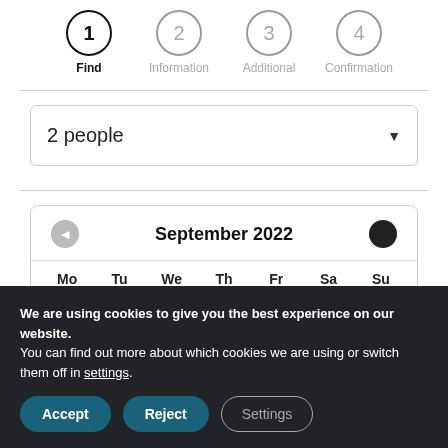[Figure (infographic): Step wizard with 4 steps: 1 Find (active/dark), 2 Information (grey), 3 Additional (grey), 4 Confirmation (grey)]
[Figure (screenshot): Dropdown selector showing '2 people' with a down arrow]
[Figure (screenshot): Calendar widget showing September 2022 with navigation arrows and day headers Mo Tu We Th Fr Sa Su]
We are using cookies to give you the best experience on our website.
You can find out more about which cookies we are using or switch them off in settings.
Accept  Reject  Settings